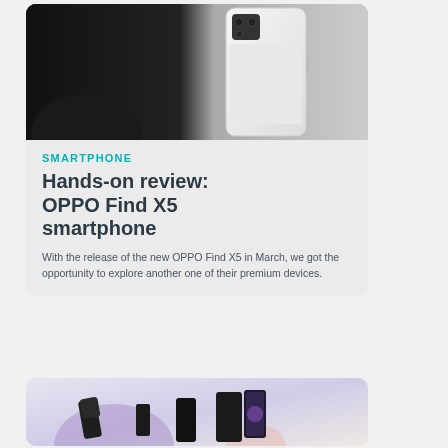[Figure (photo): White OPPO Find X5 smartphone held at an angle against a dark background]
SMARTPHONE
Hands-on review: OPPO Find X5 smartphone
With the release of the new OPPO Find X5 in March, we got the opportunity to explore another one of their premium devices.
[Figure (photo): Multiple Samsung Galaxy Z Flip smartphones arranged on a light purple and beige background]